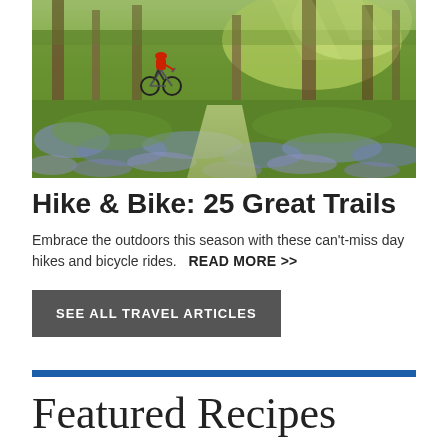[Figure (photo): Mountain biker riding through a lush green forest floor covered in blue wildflowers (bluebells), with trees and bright green canopy in the background. Biker wears red top and helmet.]
Hike & Bike: 25 Great Trails
Embrace the outdoors this season with these can't-miss day hikes and bicycle rides.   READ MORE >>
SEE ALL TRAVEL ARTICLES
Featured Recipes